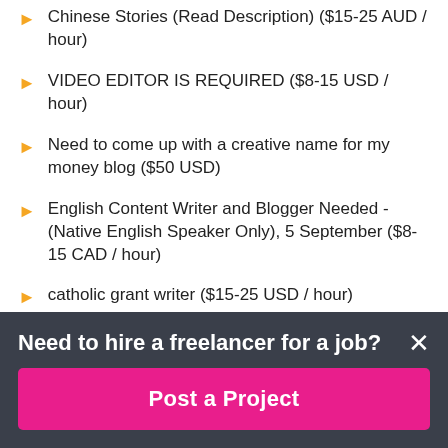Chinese Stories (Read Description) ($15-25 AUD / hour)
VIDEO EDITOR IS REQUIRED ($8-15 USD / hour)
Need to come up with a creative name for my money blog ($50 USD)
English Content Writer and Blogger Needed - (Native English Speaker Only), 5 September ($8-15 CAD / hour)
catholic grant writer ($15-25 USD / hour)
i need video editor for my new chanel – 2 ($15-25 USD / hour)
Original betting and sports articles every week ($10-200 USD)
Need to hire a freelancer for a job?
Post a Project